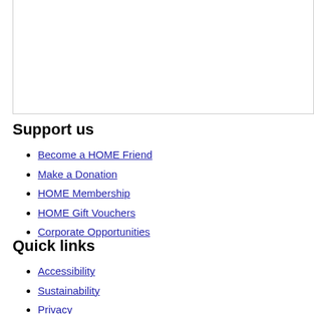Support us
Become a HOME Friend
Make a Donation
HOME Membership
HOME Gift Vouchers
Corporate Opportunities
Quick links
Accessibility
Sustainability
Privacy
Press